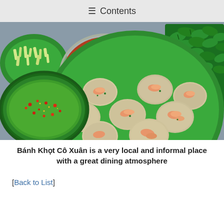≡ Contents
[Figure (photo): Overhead view of Vietnamese bánh khọt (small savory pancakes with shrimp) on a green plate, accompanied by a glass bowl of red chili sauce with a spoon, a green bowl of green dipping sauce with chili flakes, a green plate with shredded vegetables, and fresh green herbs, all on a gray surface.]
Bánh Khọt Cô Xuân is a very local and informal place with a great dining atmosphere
[Back to List]